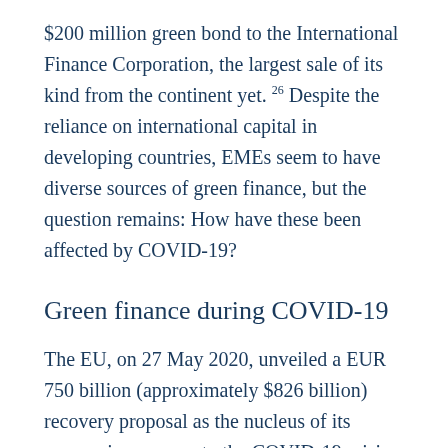$200 million green bond to the International Finance Corporation, the largest sale of its kind from the continent yet. 26 Despite the reliance on international capital in developing countries, EMEs seem to have diverse sources of green finance, but the question remains: How have these been affected by COVID-19?
Green finance during COVID-19
The EU, on 27 May 2020, unveiled a EUR 750 billion (approximately $826 billion) recovery proposal as the nucleus of its economic response to the COVID-19 crisis, and 25% of this stimulus package would be set aside for climate-friendly